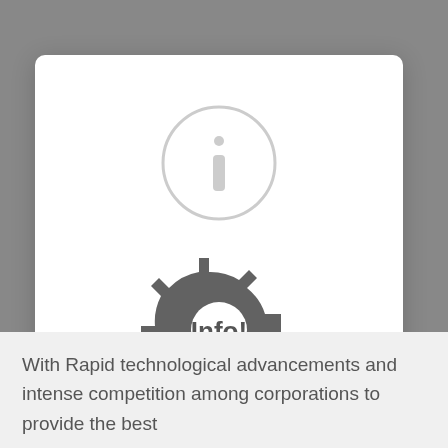[Figure (screenshot): Info dialog modal with an info circle icon at top, a gear/settings icon in the center with 'Info!' text overlaid, body text about signing in, and two buttons: LATER and SIGN IN]
Info!
For better experience and to get beautiful stories and trending news in your inbox daily , Please Sign In here.
LATER
SIGN IN
With Rapid technological advancements and intense competition among corporations to provide the best